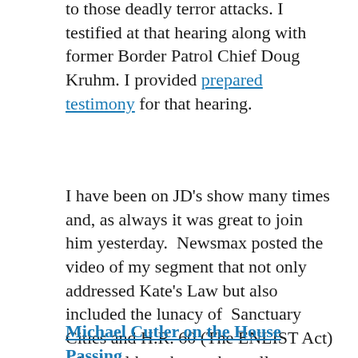to those deadly terror attacks. I testified at that hearing along with former Border Patrol Chief Doug Kruhm. I provided prepared testimony for that hearing.
I have been on JD's show many times and, as always it was great to join him yesterday. Newsmax posted the video of my segment that not only addressed Kate's Law but also included the lunacy of Sanctuary Cities and H.R. 60 (The ENLIST Act) which, although may be well-intentioned would create serious national security and public safety vulnerabilities:
Michael Cutler on the House Passing